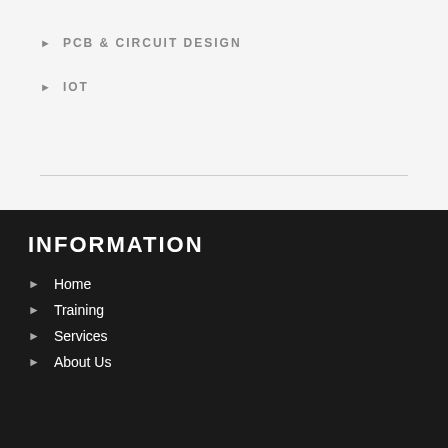PCB & CIRCUIT DESIGN
IOT
INFORMATION
Home
Training
Services
About Us